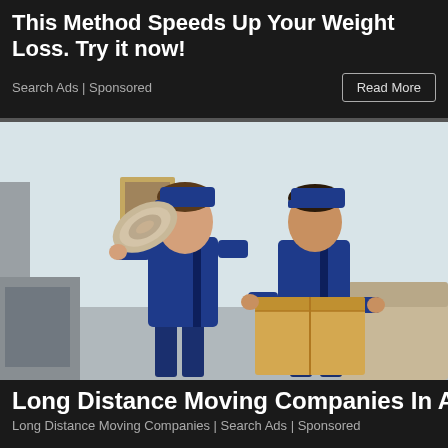This Method Speeds Up Your Weight Loss. Try it now!
Search Ads | Sponsored
[Figure (photo): Two male movers in blue uniforms: one carrying a rolled carpet on his shoulder, the other holding a cardboard box, standing in a living room.]
Long Distance Moving Companies In Ashburn
Long Distance Moving Companies | Search Ads | Sponsored